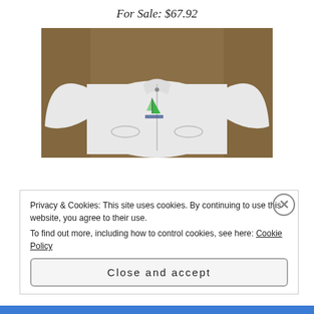For Sale: $67.92
[Figure (photo): White zip-up hoodie/jacket laid flat on a brown carpet, with a small green sailboat logo on the chest]
Posted in Thrifting
Privacy & Cookies: This site uses cookies. By continuing to use this website, you agree to their use.
To find out more, including how to control cookies, see here: Cookie Policy
Close and accept